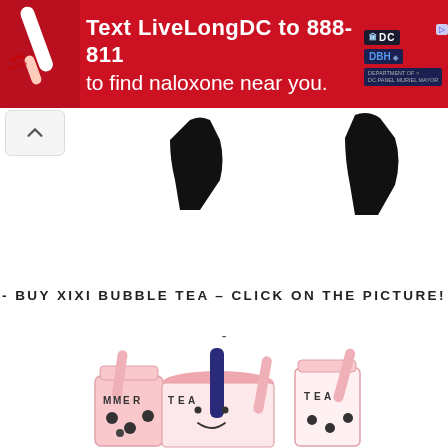[Figure (infographic): Red advertisement banner: Text LiveLongDC to 888-811 to find naloxone near you. DC and DBH logos on right side. Photo of hand holding medication on left.]
[Figure (illustration): Two dark/black silhouette shapes of people or torsos with pixelated/redacted appearance in upper portion of page]
- BUY XIXI BUBBLE TEA – CLICK ON THE PICTURE!
-
[Figure (illustration): Cartoon kawaii-style bubble tea cups with straws, pink/navy colors, labeled with letters M-M-E-R and T-E-A]